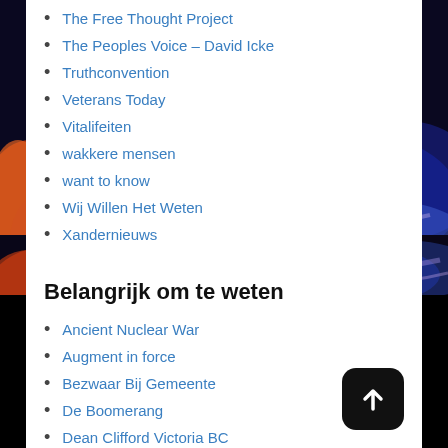The Free Thought Project
The Peoples Voice – David Icke
Truthconvention
Veterans Today
Vitalifeiten
wakkere mensen
want to know
Wij Willen Het Weten
Xandernieuws
Belangrijk om te weten
Ancient Nuclear War
Augment in force
Bezwaar Bij Gemeente
De Boomerang
Dean Clifford Victoria BC
Dr. Leonard Coldwell
Galacticconnection